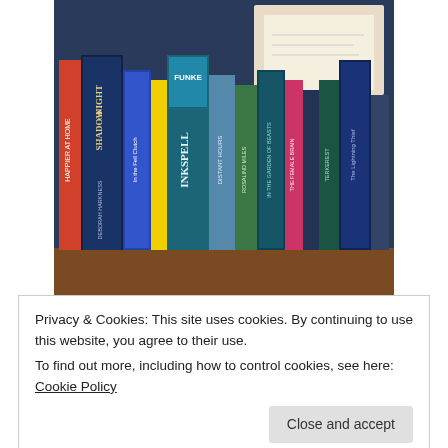[Figure (photo): A photograph of a bookshelf with many book spines visible, including titles such as Shadow of Night by Deborah Harkness, Inkspell by Funke, Distant Hours, In the Garden of Beasts, The Female Brain, The Lightning Thief, and others. Some papers and envelopes are visible behind the books.]
Privacy & Cookies: This site uses cookies. By continuing to use this website, you agree to their use.
To find out more, including how to control cookies, see here: Cookie Policy
Close and accept
The Girl Who Fell Beneath Fairyland and Led the...